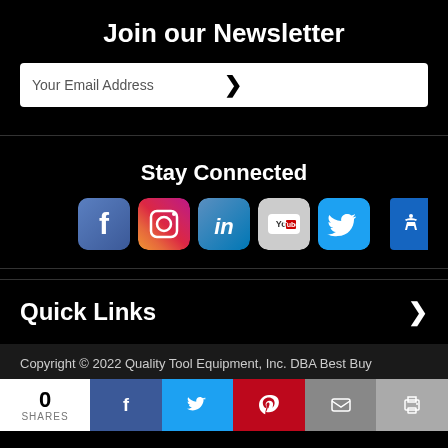Join our Newsletter
Your Email Address
Stay Connected
[Figure (infographic): Social media icons: Facebook, Instagram, LinkedIn, YouTube, Twitter, and accessibility button]
Quick Links
Copyright © 2022 Quality Tool Equipment, Inc. DBA Best Buy
0 SHARES